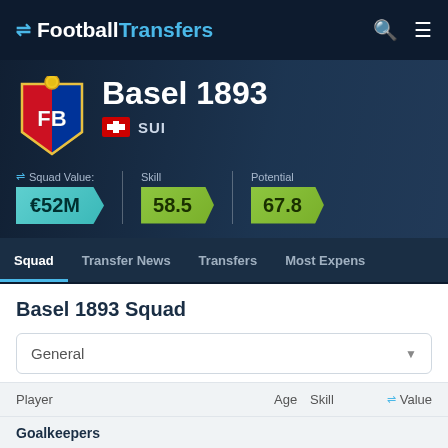FootballTransfers
[Figure (logo): Basel 1893 club crest with yellow, red, and blue shield design with FB letters]
Basel 1893
SUI
Squad Value: €52M  Skill 58.5  Potential 67.8
Squad   Transfer News   Transfers   Most Expens
Basel 1893 Squad
General
| Player | Age | Skill | Value |
| --- | --- | --- | --- |
| Goalkeepers |  |  |  |
| Felix |  |  |  |
Goalkeepers
Felix